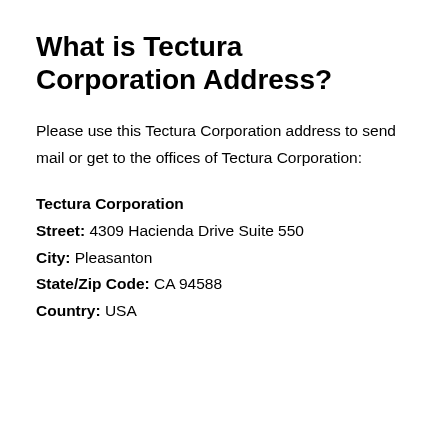What is Tectura Corporation Address?
Please use this Tectura Corporation address to send mail or get to the offices of Tectura Corporation:
Tectura Corporation
Street: 4309 Hacienda Drive Suite 550
City: Pleasanton
State/Zip Code: CA 94588
Country: USA